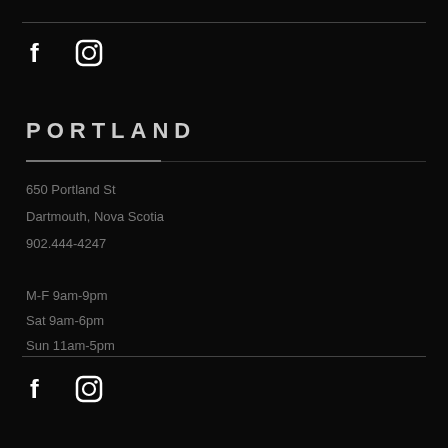[Figure (infographic): Facebook and Instagram social media icons (white on black) in top section]
PORTLAND
650 Portland St
Dartmouth, Nova Scotia
902.444-4247
M-F 9am-9pm
Sat 9am-6pm
Sun 11am-5pm
[Figure (infographic): Facebook and Instagram social media icons (white on black) in bottom section]